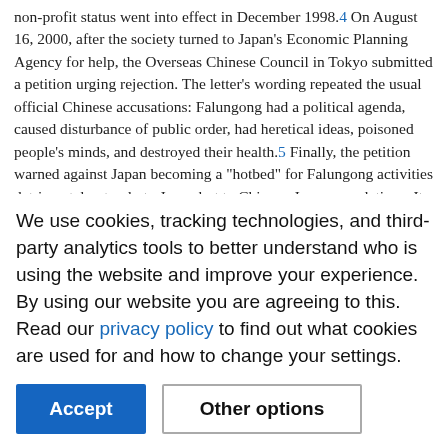non-profit status went into effect in December 1998.4 On August 16, 2000, after the society turned to Japan's Economic Planning Agency for help, the Overseas Chinese Council in Tokyo submitted a petition urging rejection. The letter's wording repeated the usual official Chinese accusations: Falungong had a political agenda, caused disturbance of public order, had heretical ideas, poisoned people's minds, and destroyed their health.5 Finally, the petition warned against Japan becoming a "hotbed" for Falungong activities detrimental not only to Japan but to Chinese-Japanese relations. It is worth noting that news of the petition was publicized in an official Chinese source.
In July, the Japanese Consulate General stated that Japan's "Law to Control Organizations that have Committed Indiscriminate
We use cookies, tracking technologies, and third-party analytics tools to better understand who is using the website and improve your experience. By using our website you are agreeing to this. Read our privacy policy to find out what cookies are used for and how to change your settings.